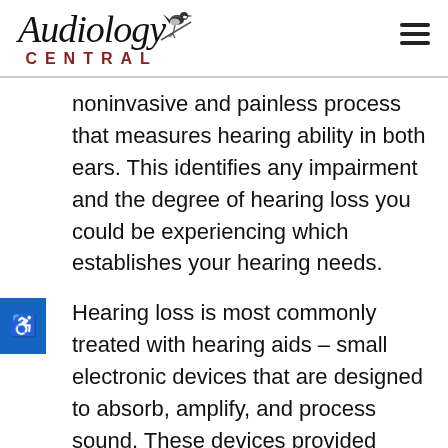[Figure (logo): Audiology Central logo with cursive text and bird illustration, with 'CENTRAL' in spaced capitals below]
noninvasive and painless process that measures hearing ability in both ears. This identifies any impairment and the degree of hearing loss you could be experiencing which establishes your hearing needs.
Hearing loss is most commonly treated with hearing aids – small electronic devices that are designed to absorb, amplify, and process sound. These devices provided significant support for the auditory system which enhances hearing and also improves